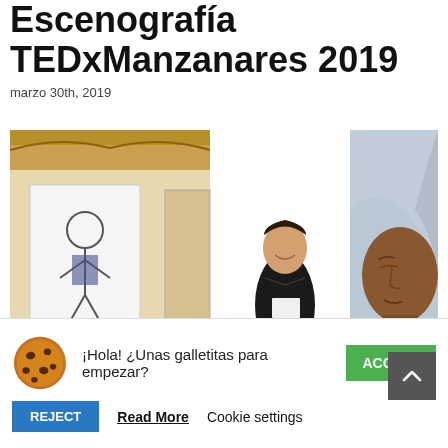Escenografía TEDxManzanares 2019
marzo 30th, 2019
[Figure (photo): Photo of an art exhibition showing a woman smiling in front of paintings — one of a cartoon figure on the left, and a large hyper-realistic portrait of an elderly woman with a white head wrap on the right. The venue has an ornate ceiling.]
¡Hola! ¿Unas galletitas para empezar? ACCEPT
REJECT  Read More  Cookie settings